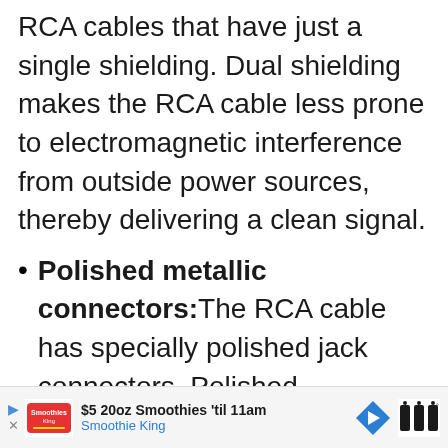RCA cables that have just a single shielding. Dual shielding makes the RCA cable less prone to electromagnetic interference from outside power sources, thereby delivering a clean signal.
Polished metallic connectors: The RCA cable has specially polished jack connectors. Polished connectors are less prone to corrosion and give them a shiny, attractive finishing.
Gold-plated connectors: This RCA cable...